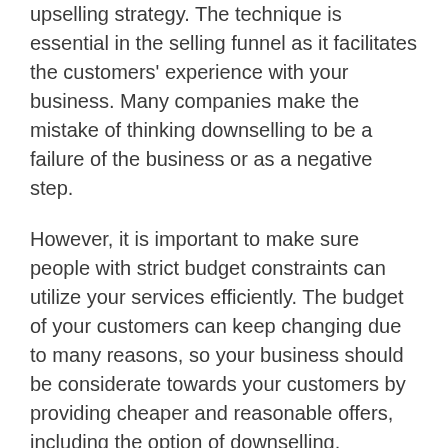upselling strategy. The technique is essential in the selling funnel as it facilitates the customers' experience with your business. Many companies make the mistake of thinking downselling to be a failure of the business or as a negative step.
However, it is important to make sure people with strict budget constraints can utilize your services efficiently. The budget of your customers can keep changing due to many reasons, so your business should be considerate towards your customers by providing cheaper and reasonable offers, including the option of downselling.
5. Steady Marketing
The last important strategy of designing an efficient